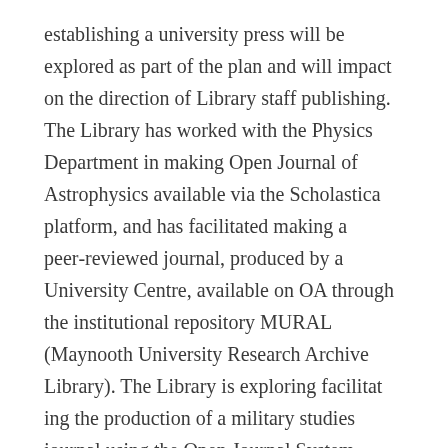establishing a university press will be explored as part of the plan and will impact on the direction of Library staff publishing. The Library has worked with the Physics Department in making Open Journal of Astrophysics available via the Scholastica platform, and has facilitated making a peer-reviewed journal, produced by a University Centre, available on OA through the institutional repository MURAL (Maynooth University Research Archive Library). The Library is exploring facilitating the production of a military studies journal using the Open Journal System (OJS) and open publishing is the focus of Research Week 2019.
The Library has had an over-reliance on two